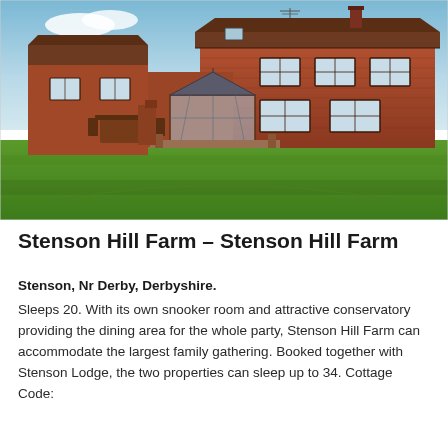[Figure (photo): Exterior photograph of Stenson Hill Farm, a large red brick country farmhouse with a glass conservatory extension, multiple windows, and a spacious green lawn in the foreground, under a blue sky.]
Stenson Hill Farm – Stenson Hill Farm
Stenson, Nr Derby, Derbyshire.
Sleeps 20. With its own snooker room and attractive conservatory providing the dining area for the whole party, Stenson Hill Farm can accommodate the largest family gathering. Booked together with Stenson Lodge, the two properties can sleep up to 34. Cottage Code: